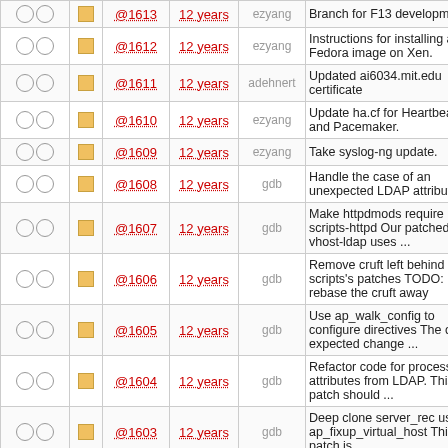|  |  | Rev | Age | Author | Log Message |
| --- | --- | --- | --- | --- | --- |
| ○ ○ | □ | @1613 | 12 years | ezyang | Branch for F13 development. |
| ○ ○ | □ | @1612 | 12 years | ezyang | Instructions for installing a Fedora image on Xen. |
| ○ ○ | □ | @1611 | 12 years | adehnert | Updated ai6034.mit.edu certificate |
| ○ ○ | □ | @1610 | 12 years | ezyang | Update ha.cf for Heartbeat 3 and Pacemaker. |
| ○ ○ | □ | @1609 | 12 years | ezyang | Take syslog-ng update. |
| ○ ○ | □ | @1608 | 12 years | gdb | Handle the case of an unexpected LDAP attribute |
| ○ ○ | □ | @1607 | 12 years | gdb | Make httpdmods require scripts-httpd Our patched mod-vhost-ldap uses ... |
| ○ ○ | □ | @1606 | 12 years | gdb | Remove cruft left behind by scripts's patches TODO: rebase the cruft away |
| ○ ○ | □ | @1605 | 12 years | gdb | Use ap_walk_config to configure directives The only expected change ... |
| ○ ○ | □ | @1604 | 12 years | gdb | Refactor code for processing attributes from LDAP. This patch should ... |
| ○ ○ | □ | @1603 | 12 years | gdb | Deep clone server_rec using ap_fixup_virtual_host This patch is ... |
| ○ ○ | □ | @1602 | 12 years | gdb | httpd: Add method to merge virtual host with a main server_rec |
| ○ ○ | □ |  |  |  | admof: Re-resolve the potential |